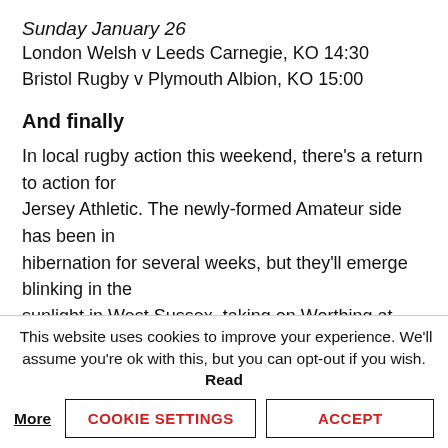Sunday January 26
London Welsh v Leeds Carnegie, KO 14:30
Bristol Rugby v Plymouth Albion, KO 15:00
And finally
In local rugby action this weekend, there's a return to action for Jersey Athletic. The newly-formed Amateur side has been in hibernation for several weeks, but they'll emerge blinking in the sunlight in West Sussex, taking on Worthing at 1pm on Saturday. Earlier the same day Banks host Guernsey 2nds at Grainville at 11.30am, while the following day Beeches host Jersey
This website uses cookies to improve your experience. We'll assume you're ok with this, but you can opt-out if you wish. Read More
COOKIE SETTINGS
ACCEPT